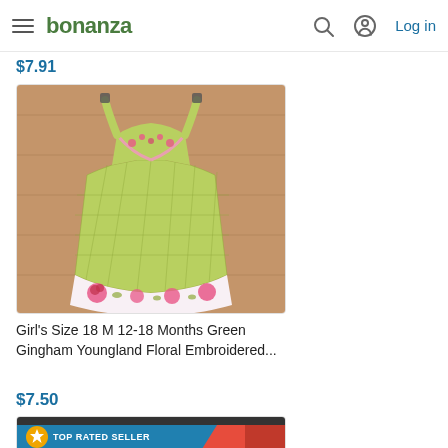bonanza — Log in
$7.91
[Figure (photo): Girl's green gingham floral embroidered dress laid flat on a wooden surface, with pink floral embroidery at the hem and straps]
Girl's Size 18 M 12-18 Months Green Gingham Youngland Floral Embroidered...
$7.50
[Figure (photo): Red garment partially visible, with TOP RATED SELLER badge overlay]